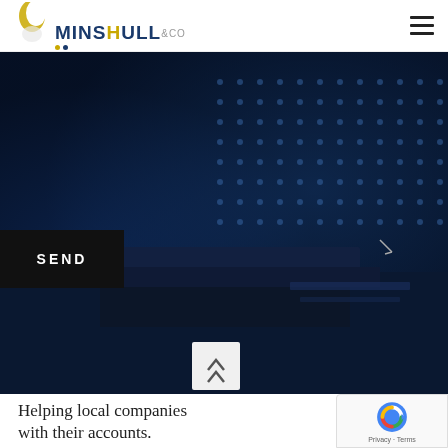[Figure (logo): Minshull & Co logo with crescent moon graphic in gold and text MINSHULL in dark blue, with &co below]
[Figure (photo): Dark blue background hero image showing server rack or technology equipment with blue dot-matrix pattern overlay]
SEND
Helping local companies with their accounts.